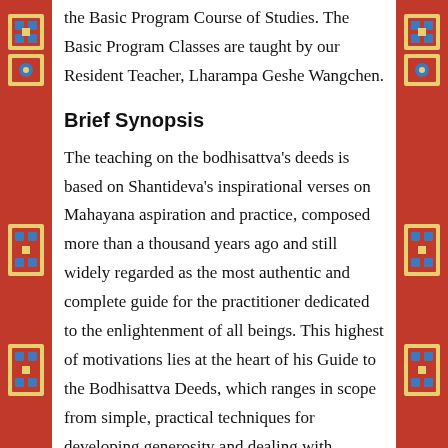the Basic Program Course of Studies. The Basic Program Classes are taught by our Resident Teacher, Lharampa Geshe Wangchen.
Brief Synopsis
The teaching on the bodhisattva's deeds is based on Shantideva's inspirational verses on Mahayana aspiration and practice, composed more than a thousand years ago and still widely regarded as the most authentic and complete guide for the practitioner dedicated to the enlightenment of all beings. This highest of motivations lies at the heart of his Guide to the Bodhisattva Deeds, which ranges in scope from simple, practical techniques for developing generosity and dealing with destructive emotions, up to the most refined discussion of ultimate truth. Due to its authenticity and relevance for everyday life, this classic is probably cited more often in teachings